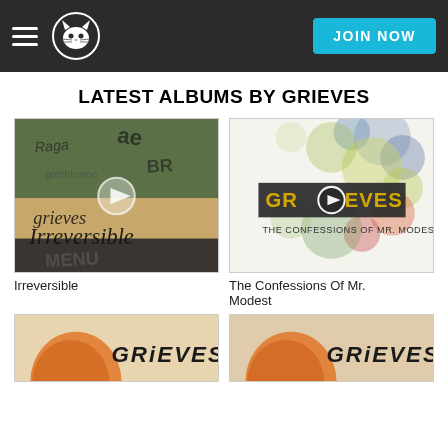Napster — JOIN NOW
LATEST ALBUMS BY GRIEVES
[Figure (photo): Album art for Irreversible by Grieves — graffiti-covered wall with cursive text and a play button overlay]
Irreversible
[Figure (photo): Album art for The Confessions Of Mr. Modest by Grieves — colorful abstract circles with GRIEVES text and play button overlay, with subtitle 'THE CONFESSIONS OF MR. MODEST']
The Confessions Of Mr. Modest
[Figure (photo): Partial album art bottom left — orange/tan illustration with GRIEVES text]
[Figure (photo): Partial album art bottom right — similar orange/tan illustration with GRIEVES text]